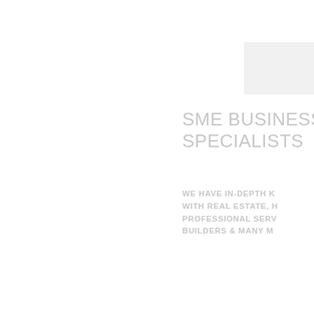[Figure (photo): Faint light grey rectangular image placeholder in upper right area of the page]
SME BUSINESS SPECIALISTS
WE HAVE IN-DEPTH K... WITH REAL ESTATE, H... PROFESSIONAL SERV... BUILDERS & MANY M...